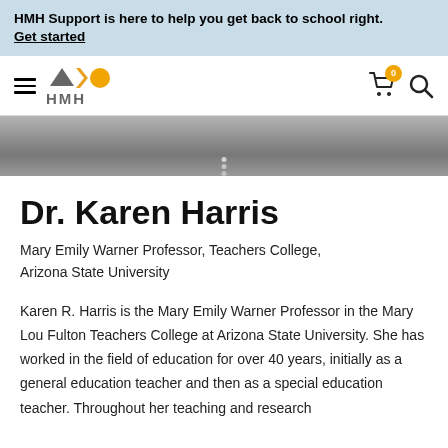HMH Support is here to help you get back to school right. Get started
[Figure (logo): HMH logo with geometric shapes (triangle, arrow, circle) in gold/orange and gray, with navigation bar including hamburger menu, cart icon with badge showing 0, and search icon]
[Figure (photo): Grayscale partial photo, appears to show fabric or clothing with a decorative chain element]
Dr. Karen Harris
Mary Emily Warner Professor, Teachers College, Arizona State University
Karen R. Harris is the Mary Emily Warner Professor in the Mary Lou Fulton Teachers College at Arizona State University. She has worked in the field of education for over 40 years, initially as a general education teacher and then as a special education teacher. Throughout her teaching and research